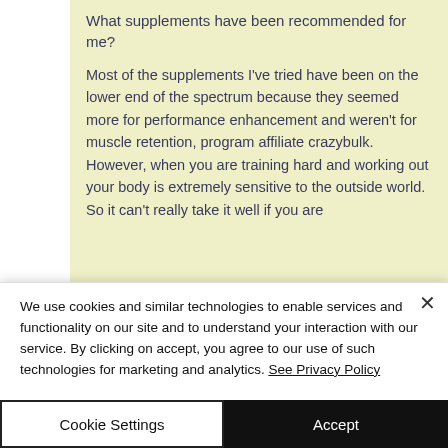What supplements have been recommended for me?
Most of the supplements I've tried have been on the lower end of the spectrum because they seemed more for performance enhancement and weren't for muscle retention, program affiliate crazybulk. However, when you are training hard and working out your body is extremely sensitive to the outside world. So it can't really take it well if you are
We use cookies and similar technologies to enable services and functionality on our site and to understand your interaction with our service. By clicking on accept, you agree to our use of such technologies for marketing and analytics. See Privacy Policy
Cookie Settings
Accept